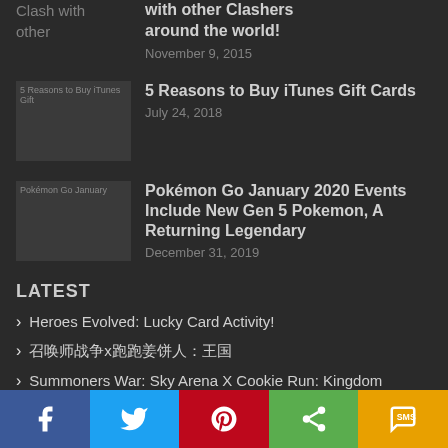Clash with other
with other Clashers around the world!
November 9, 2015
[Figure (photo): 5 Reasons to Buy iTunes Gift thumbnail image]
5 Reasons to Buy iTunes Gift Cards
July 24, 2018
[Figure (photo): Pokémon Go January thumbnail image]
Pokémon Go January 2020 Events Include New Gen 5 Pokemon, A Returning Legendary
December 31, 2019
LATEST
Heroes Evolved: Lucky Card Activity!
召唤师战争x跑跑姜饼人：王国
Summoners War: Sky Arena X Cookie Run: Kingdom Starting August 28th
MIR4: 1st Anniversary Event!